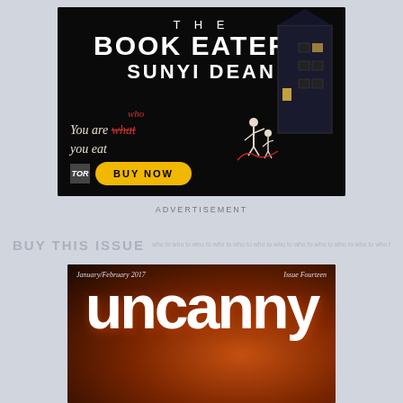[Figure (illustration): Book advertisement for 'The Book Eaters' by Sunyi Dean. Black background with illustrated gothic house, mother and child figures. Text: 'THE BOOK EATERS SUNYI DEAN', tagline 'You are who you eat' (with 'what' crossed out and 'who' written above), and a yellow 'BUY NOW' button. TOR publisher logo.]
ADVERTISEMENT
BUY THIS ISSUE
[Figure (photo): Magazine cover of Uncanny Magazine, January/February 2017, Issue Fourteen. Dark fiery background with large white stylized title 'uncanny'.]